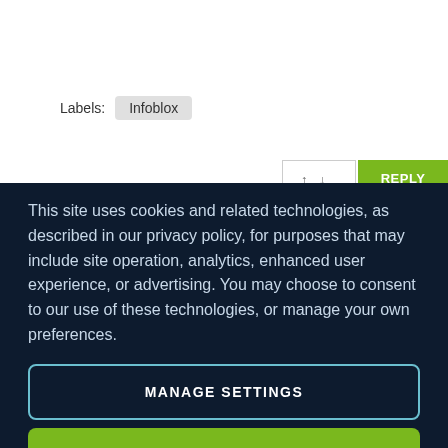Labels:  Infoblox
This site uses cookies and related technologies, as described in our privacy policy, for purposes that may include site operation, analytics, enhanced user experience, or advertising. You may choose to consent to our use of these technologies, or manage your own preferences.
MANAGE SETTINGS
ACCEPT
DECLINE ALL